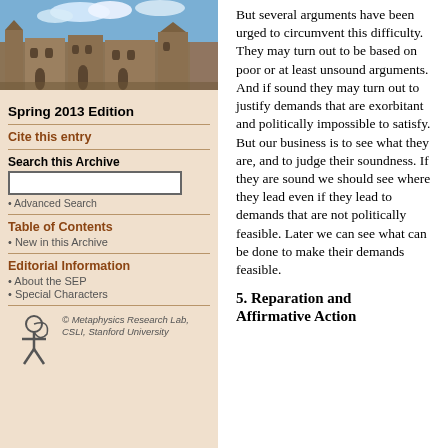[Figure (photo): Photograph of a historic university building, likely Oxford or similar, with gothic architecture and blue sky with clouds]
Spring 2013 Edition
Cite this entry
Search this Archive
Advanced Search
Table of Contents
New in this Archive
Editorial Information
About the SEP
Special Characters
© Metaphysics Research Lab, CSLI, Stanford University
But several arguments have been urged to circumvent this difficulty. They may turn out to be based on poor or at least unsound arguments. And if sound they may turn out to justify demands that are exorbitant and politically impossible to satisfy. But our business is to see what they are, and to judge their soundness. If they are sound we should see where they lead even if they lead to demands that are not politically feasible. Later we can see what can be done to make their demands feasible.
5. Reparation and Affirmative Action